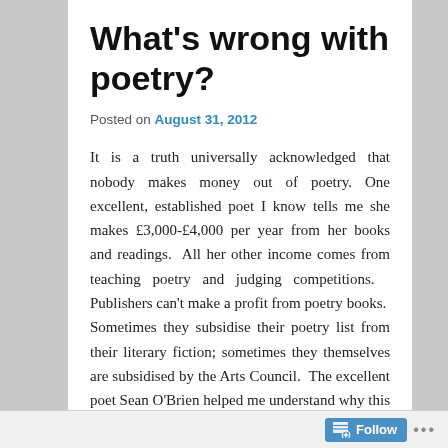What's wrong with poetry?
Posted on August 31, 2012
It is a truth universally acknowledged that nobody makes money out of poetry. One excellent, established poet I know tells me she makes £3,000-£4,000 per year from her books and readings.  All her other income comes from teaching poetry and judging competitions.  Publishers can't make a profit from poetry books.  Sometimes they subsidise their poetry list from their literary fiction; sometimes they themselves are subsidised by the Arts Council.  The excellent poet Sean O'Brien helped me understand why this is, when he suggested that the audience for poetry in this country is between 5,000 and
Follow ...